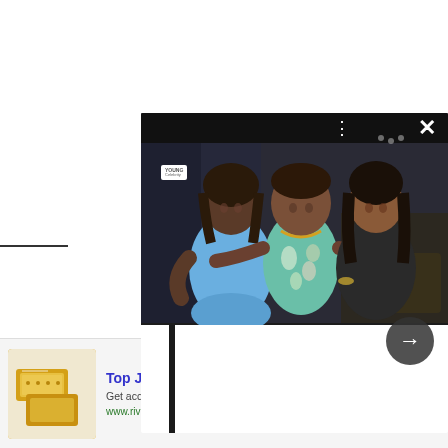[Figure (photo): A social media photo card showing three people posing together at what appears to be an indoor event. A woman in a light blue dress on the left, a man in a floral Hawaiian shirt in the center, and a woman in a dark outfit on the right. The card has a dark background, a small logo watermark in the upper left, three-dot menu and X close button at top, and a right-arrow navigation button.]
[Figure (infographic): Advertisement banner at the bottom of the page. Shows gold bar/ingot image on the left. Text reads 'Top Junior Gold Mining Stock' in bold blue, 'Get access to the next top mining Micro Cap here!' in gray, and 'www.rivres.com' in green. A blue circular arrow button is on the right. A gray close X button is in the upper right of the ad.]